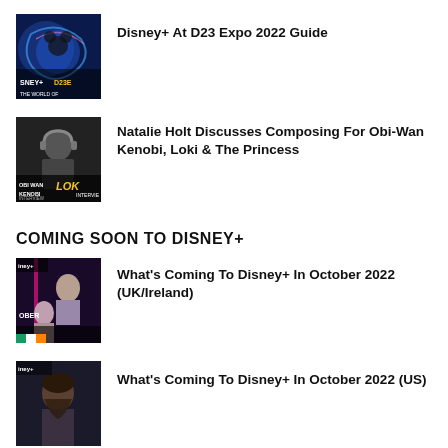[Figure (photo): Disney+ D23 Expo 2022 thumbnail with Mickey Mouse and Disney+ D23 Expo logo]
Disney+ At D23 Expo 2022 Guide
[Figure (photo): Natalie Holt interview thumbnail with Obi-Wan Kenobi and Loki logos]
Natalie Holt Discusses Composing For Obi-Wan Kenobi, Loki & The Princess
COMING SOON TO DISNEY+
[Figure (photo): What's Coming To Disney+ In October 2022 UK/Ireland thumbnail]
What's Coming To Disney+ In October 2022 (UK/Ireland)
[Figure (photo): What's Coming To Disney+ In October 2022 US thumbnail]
What's Coming To Disney+ In October 2022 (US)